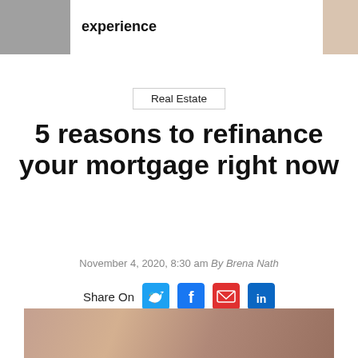experience
Real Estate
5 reasons to refinance your mortgage right now
November 4, 2020, 8:30 am By Brena Nath
Share On
[Figure (photo): Bottom photo of people, partially visible]